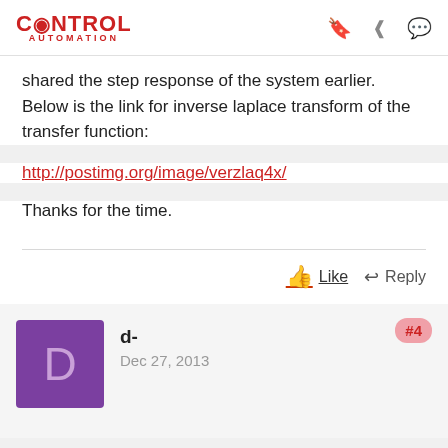CONTROL AUTOMATION
shared the step response of the system earlier. Below is the link for inverse laplace transform of the transfer function:
http://postimg.org/image/verzlaq4x/
Thanks for the time.
Like   Reply
d-
Dec 27, 2013
#4